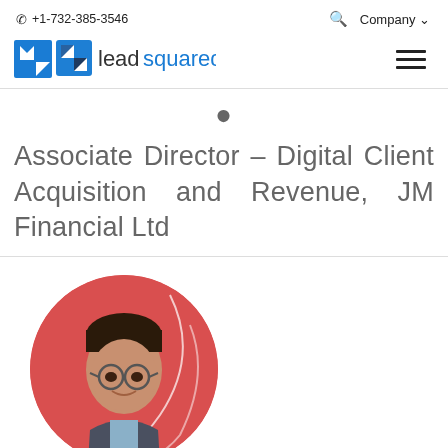☎ +1-732-385-3546   🔍  Company ∨
[Figure (logo): LeadSquared logo with blue square icon and text 'leadsquared' where 'lead' is dark and 'squared' is blue]
Associate Director – Digital Client Acquisition and Revenue, JM Financial Ltd
[Figure (photo): Profile photo of a man with glasses and short dark hair, wearing a suit, set against a red circular background with white decorative curves]